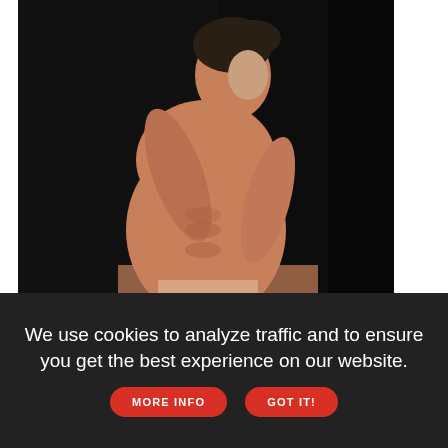[Figure (photo): Shirtless male model with athletic physique posing against a dark background, hand on shoulder, profile view facing right]
[Figure (screenshot): Advertisement banner for LGBTQ Nation 'Authentic Voices Of' sponsored by Chevrolet, showing a person with curly hair on the left, Chevy logo in center, colorful bar chart bars, and LGBTQ Nation branding on right]
We use cookies to analyze traffic and to ensure you get the best experience on our website. MORE INFO GOT IT!